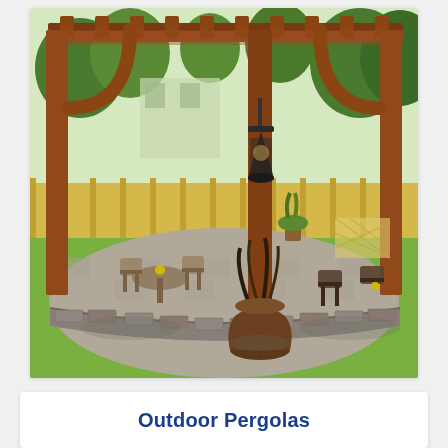[Figure (photo): Outdoor wooden pergola over a paved patio with wicker furniture, decorative lantern hanging from a post, large planter with ornamental grass in the foreground, stone retaining wall border, yellow wooden fence in the background, green trees and lawn.]
Outdoor Pergolas